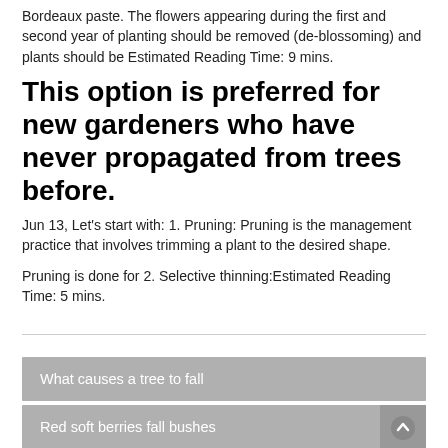Bordeaux paste. The flowers appearing during the first and second year of planting should be removed (de-blossoming) and plants should be Estimated Reading Time: 9 mins.
This option is preferred for new gardeners who have never propagated from trees before.
Jun 13, Let's start with: 1. Pruning: Pruning is the management practice that involves trimming a plant to the desired shape.
Pruning is done for 2. Selective thinning:Estimated Reading Time: 5 mins.
What causes a tree to fall
Red soft berries fall bushes